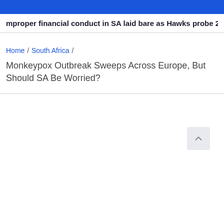mproper financial conduct in SA laid bare as Hawks probe 22477 ca
Home / South Africa / Monkeypox Outbreak Sweeps Across Europe, But Should SA Be Worried?
[Figure (other): Scroll-to-top button icon]